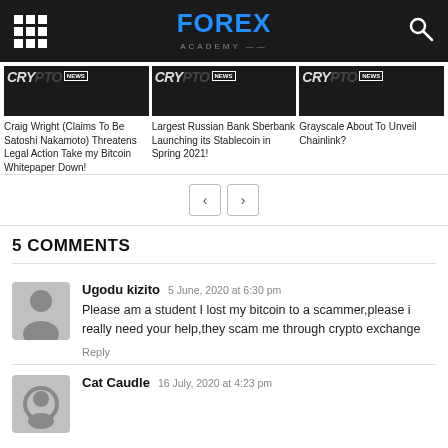FOREX ACADEMY
[Figure (screenshot): Three crypto news article thumbnails with dark backgrounds and CRYPTO NEWS labels]
Craig Wright (Claims To Be Satoshi Nakamoto) Threatens Legal Action Take my Bitcoin Whitepaper Down!
Largest Russian Bank Sberbank Launching its Stablecoin in Spring 2021!
Grayscale About To Unveil Chainlink?
5 COMMENTS
Ugodu kizito
5 June, 2020 at 6:30 pm
Please am a student I lost my bitcoin to a scammer,please i really need your help,they scam me through crypto exchange
Reply
Cat Caudle
16 July, 2020 at 4:23 pm